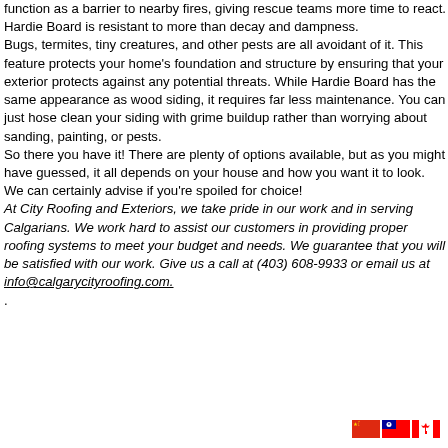function as a barrier to nearby fires, giving rescue teams more time to react. Hardie Board is resistant to more than decay and dampness. Bugs, termites, tiny creatures, and other pests are all avoidant of it. This feature protects your home's foundation and structure by ensuring that your exterior protects against any potential threats. While Hardie Board has the same appearance as wood siding, it requires far less maintenance. You can just hose clean your siding with grime buildup rather than worrying about sanding, painting, or pests. So there you have it! There are plenty of options available, but as you might have guessed, it all depends on your house and how you want it to look. We can certainly advise if you're spoiled for choice!
At City Roofing and Exteriors, we take pride in our work and in serving Calgarians. We work hard to assist our customers in providing proper roofing systems to meet your budget and needs. We guarantee that you will be satisfied with our work. Give us a call at (403) 608-9933 or email us at info@calgarycityroofing.com.
.
[Figure (illustration): Three small flag icons: China (red with yellow stars), Taiwan (red/blue with sun emblem), and Canada (red and white with maple leaf)]